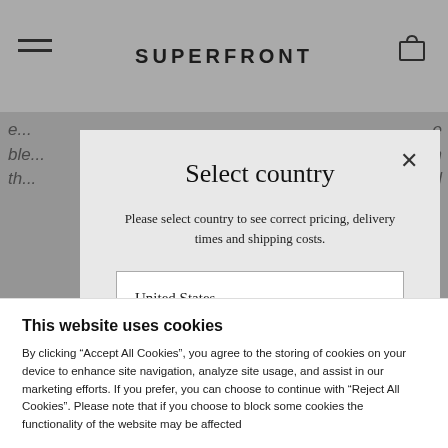[Figure (screenshot): Superfront website header with hamburger menu, SUPERFRONT logo, and cart icon on grey background]
Select country
Please select country to see correct pricing, delivery times and shipping costs.
United States
SELECT COUNTRY
This website uses cookies
By clicking “Accept All Cookies”, you agree to the storing of cookies on your device to enhance site navigation, analyze site usage, and assist in our marketing efforts. If you prefer, you can choose to continue with “Reject All Cookies”. Please note that if you choose to block some cookies the functionality of the website may be affected